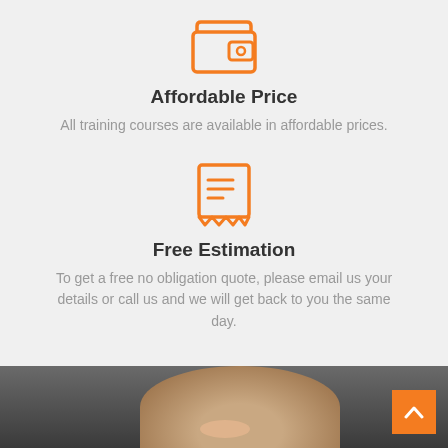[Figure (illustration): Orange wallet icon]
Affordable Price
All training courses are available in affordable prices.
[Figure (illustration): Orange receipt/bill icon]
Free Estimation
To get a free no obligation quote, please email us your details or call us and we will get back to you the same day.
[Figure (photo): Photo of a person smiling, partially visible at bottom of page]
[Figure (other): Orange back-to-top button with upward arrow in bottom right corner]